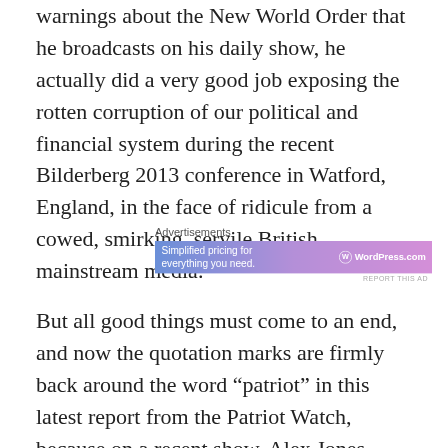warnings about the New World Order that he broadcasts on his daily show, he actually did a very good job exposing the rotten corruption of our political and financial system during the recent Bilderberg 2013 conference in Watford, England, in the face of ridicule from a cowed, smirking, servile British mainstream media.
[Figure (other): WordPress.com advertisement banner with gradient blue-pink background. Text reads 'Simplified pricing for everything you need.' with WordPress.com logo on the right.]
But all good things must come to an end, and now the quotation marks are firmly back around the word “patriot” in this latest report from the Patriot Watch, because on a recent show, Alex Jones decided to open his mouth and offer to the world his thoughts about the US